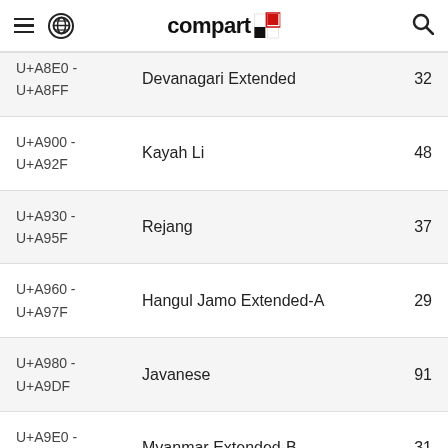compart [logo] — navigation bar with hamburger menu, globe icon, compart logo, search icon
| Range | Name | Count |
| --- | --- | --- |
| U+A8E0 -
U+A8FF | Devanagari Extended | 32 |
| U+A900 -
U+A92F | Kayah Li | 48 |
| U+A930 -
U+A95F | Rejang | 37 |
| U+A960 -
U+A97F | Hangul Jamo Extended-A | 29 |
| U+A980 -
U+A9DF | Javanese | 91 |
| U+A9E0 -
U+A9FF | Myanmar Extended-B | 31 |